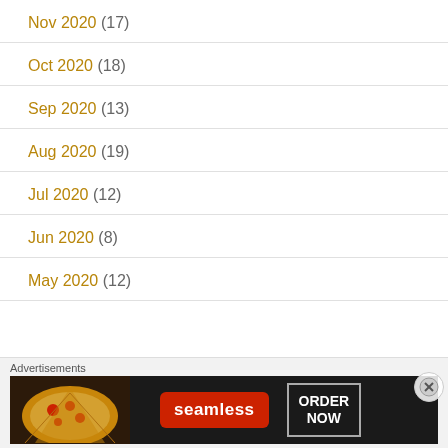Nov 2020 (17)
Oct 2020 (18)
Sep 2020 (13)
Aug 2020 (19)
Jul 2020 (12)
Jun 2020 (8)
May 2020 (12)
[Figure (other): Seamless food delivery advertisement banner showing pizza image, Seamless logo, and ORDER NOW button]
Advertisements